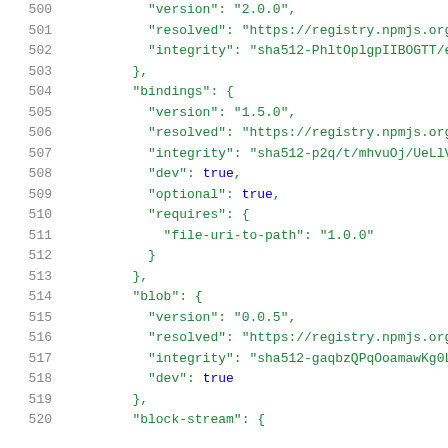500   "version": "2.0.0",
501   "resolved": "https://registry.npmjs.org/b
502   "integrity": "sha512-PhltOplgpIIBOGTT/ehf
503   },
504   "bindings": {
505     "version": "1.5.0",
506     "resolved": "https://registry.npmjs.org/b
507     "integrity": "sha512-p2q/t/mhvuOj/UeLlV65
508     "dev": true,
509     "optional": true,
510     "requires": {
511       "file-uri-to-path": "1.0.0"
512     }
513   },
514   "blob": {
515     "version": "0.0.5",
516     "resolved": "https://registry.npmjs.org/b
517     "integrity": "sha512-gaqbzQPqOoamawKg0LGV
518     "dev": true
519   },
520   "block-stream": {